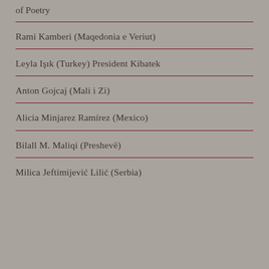of Poetry
Rami Kamberi (Maqedonia e Veriut)
Leyla Işık (Turkey) President Kibatek
Anton Gojcaj (Mali i Zi)
Alicia Minjarez Ramírez (Mexico)
Bilall M. Maliqi (Preshevë)
Milica Jeftimijević Lilić (Serbia)